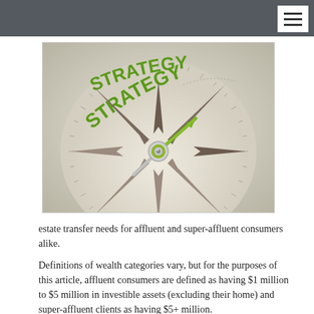[Figure (photo): A compass with a green arrow needle pointing toward the word STRATEGY in green bold text, on a cream-colored compass face with tick marks around the perimeter.]
estate transfer needs for affluent and super-affluent consumers alike.
Definitions of wealth categories vary, but for the purposes of this article, affluent consumers are defined as having $1 million to $5 million in investible assets (excluding their home) and super-affluent clients as having $5+ million.